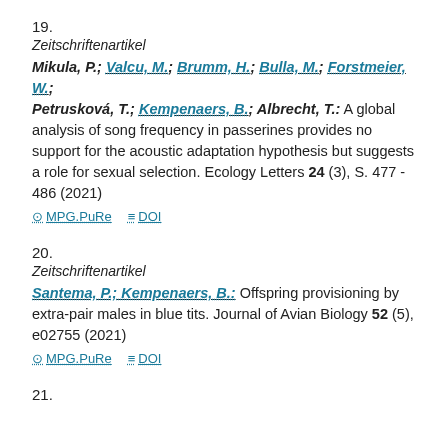19.
Zeitschriftenartikel
Mikula, P.; Valcu, M.; Brumm, H.; Bulla, M.; Forstmeier, W.; Petrusková, T.; Kempenaers, B.; Albrecht, T.: A global analysis of song frequency in passerines provides no support for the acoustic adaptation hypothesis but suggests a role for sexual selection. Ecology Letters 24 (3), S. 477 - 486 (2021)
MPG.PuRe   DOI
20.
Zeitschriftenartikel
Santema, P.; Kempenaers, B.: Offspring provisioning by extra-pair males in blue tits. Journal of Avian Biology 52 (5), e02755 (2021)
MPG.PuRe   DOI
21.